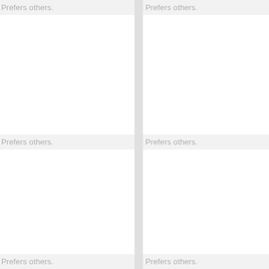Prefers others.
Prefers others.
Prefers others.
Prefers others.
Prefers others.
Prefers others.